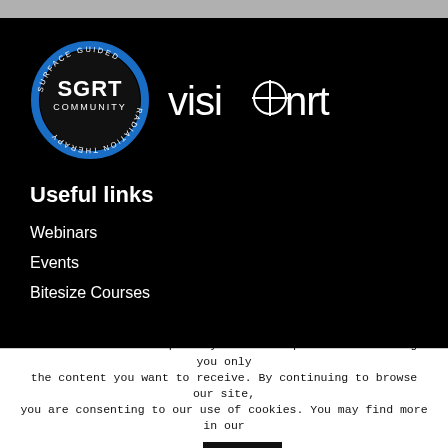[Figure (logo): SGRT Community circular logo with blue ring and VisionRT text logo side by side on black background]
Useful links
Webinars
Events
Bitesize Courses
We use cookies to improve your user experience and bring you only the content you want to receive. By continuing to browse our site, you are consenting to our use of cookies. You may find more in our privacy policy.
Accept
Read More